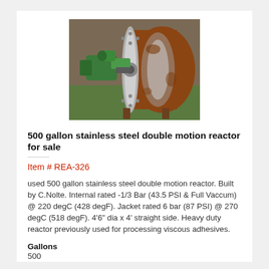[Figure (photo): Photograph of a used 500 gallon stainless steel double motion reactor lying on its side outdoors, showing green motor/drive assembly and stainless steel drum with flanged end]
500 gallon stainless steel double motion reactor for sale
Item # REA-326
used 500 gallon stainless steel double motion reactor. Built by C.Nolte. Internal rated -1/3 Bar (43.5 PSI & Full Vaccum) @ 220 degC (428 degF). Jacket rated 6 bar (87 PSI) @ 270 degC (518 degF). 4'6" dia x 4' straight side. Heavy duty reactor previously used for processing viscous adhesives.
Gallons
500
Shell Material